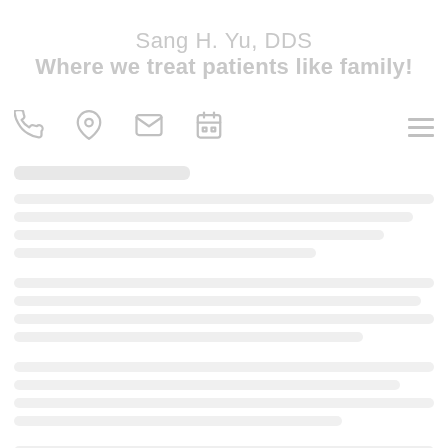Sang H. Yu, DDS
Where we treat patients like family!
[Figure (other): Navigation bar with phone, location pin, envelope, and calendar icons on the left, and a hamburger menu icon on the right]
[blurred/obscured body content — dental practice website page]